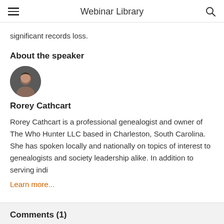Webinar Library
significant records loss.
About the speaker
[Figure (photo): Circular portrait photo of Rorey Cathcart, a woman with dark hair]
Rorey Cathcart
Rorey Cathcart is a professional genealogist and owner of The Who Hunter LLC based in Charleston, South Carolina. She has spoken locally and nationally on topics of interest to genealogists and society leadership alike. In addition to serving indi
Learn more...
Comments (1)